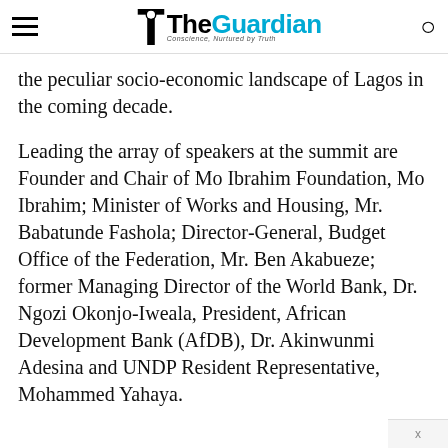The Guardian — Conscience, Nurtured by Truth
the peculiar socio-economic landscape of Lagos in the coming decade.
Leading the array of speakers at the summit are Founder and Chair of Mo Ibrahim Foundation, Mo Ibrahim; Minister of Works and Housing, Mr. Babatunde Fashola; Director-General, Budget Office of the Federation, Mr. Ben Akabueze; former Managing Director of the World Bank, Dr. Ngozi Okonjo-Iweala, President, African Development Bank (AfDB), Dr. Akinwunmi Adesina and UNDP Resident Representative, Mohammed Yahaya.